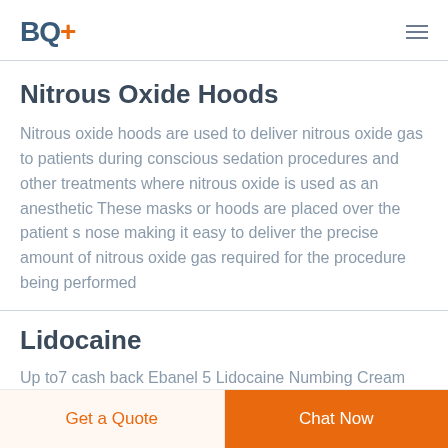BQ+
Nitrous Oxide Hoods
Nitrous oxide hoods are used to deliver nitrous oxide gas to patients during conscious sedation procedures and other treatments where nitrous oxide is used as an anesthetic These masks or hoods are placed over the patient s nose making it easy to deliver the precise amount of nitrous oxide gas required for the procedure being performed
Lidocaine
Up to7 cash back  Ebanel 5 Lidocaine Numbing Cream
Get a Quote  Chat Now